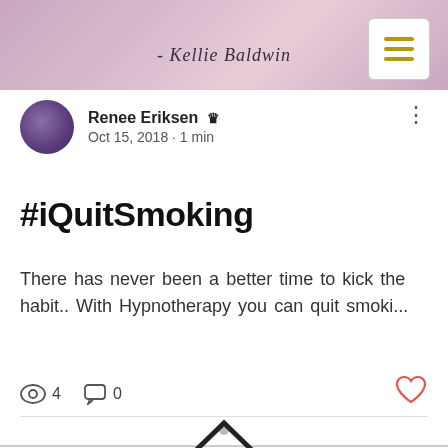[Figure (screenshot): Website header banner with pink/purple sky background and italic script text '- Kellie Baldwin']
Renee Eriksen 👑
Oct 15, 2018 · 1 min
#iQuitSmoking
There has never been a better time to kick the habit.. With Hypnotherapy you can quit smoki...
👁 4   💬 0   ♡